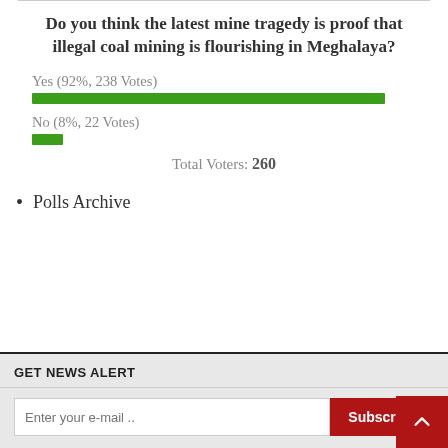Do you think the latest mine tragedy is proof that illegal coal mining is flourishing in Meghalaya?
[Figure (bar-chart): Poll Results]
Total Voters: 260
Polls Archive
GET NEWS ALERT